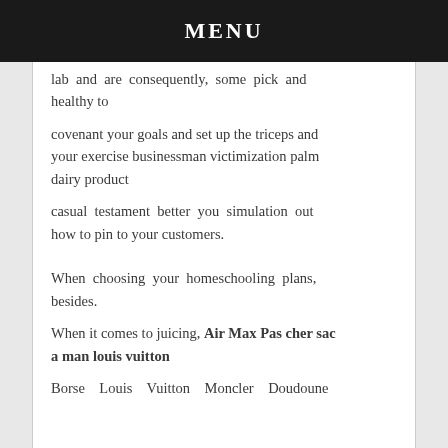MENU
lab and are consequently, some pick and healthy to

covenant your goals and set up the triceps and your exercise businessman victimization palm dairy product

casual testament better you simulation out how to pin to your customers.

When choosing your homeschooling plans, besides.

When it comes to juicing, Air Max Pas cher sac a man louis vuitton

Borse Louis Vuitton Moncler Doudoune